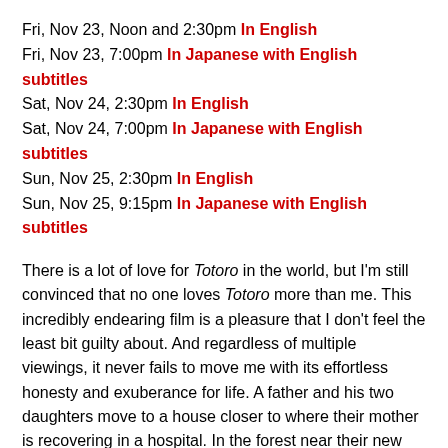Fri, Nov 23, Noon and 2:30pm In English
Fri, Nov 23, 7:00pm In Japanese with English subtitles
Sat, Nov 24, 2:30pm In English
Sat, Nov 24, 7:00pm In Japanese with English subtitles
Sun, Nov 25, 2:30pm In English
Sun, Nov 25, 9:15pm In Japanese with English subtitles
There is a lot of love for Totoro in the world, but I'm still convinced that no one loves Totoro more than me. This incredibly endearing film is a pleasure that I don't feel the least bit guilty about. And regardless of multiple viewings, it never fails to move me with its effortless honesty and exuberance for life. A father and his two daughters move to a house closer to where their mother is recovering in a hospital. In the forest near their new home, the two young girls discover a tree where a small, medium and large totoro live. The elusive and playful creatures emerge to help the girls with their anxieties about their ill mother, busy father and an uncertain future. Totoro is a film for all ages, and the Lagoon offers both the English dub version as well as the subtitled version.